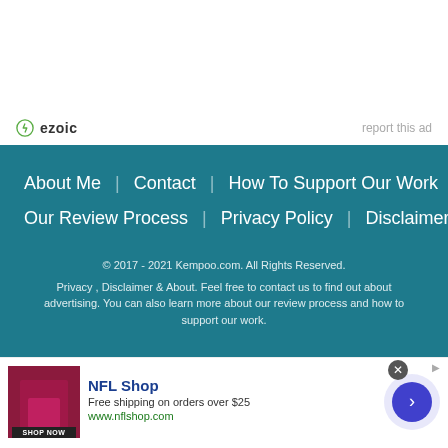[Figure (logo): Ezoic logo with circular icon and text 'ezoic']
report this ad
About Me   Contact   How To Support Our Work
Our Review Process   Privacy Policy   Disclaimer
© 2017 - 2021 Kempoo.com. All Rights Reserved. Privacy , Disclaimer & About. Feel free to contact us to find out about advertising. You can also learn more about our review process and how to support our work.
[Figure (screenshot): NFL Shop advertisement banner with product image, shop now button, and navigation arrow]